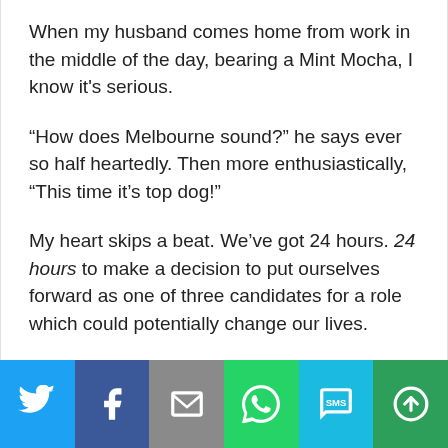When my husband comes home from work in the middle of the day, bearing a Mint Mocha, I know it's serious.
“How does Melbourne sound?” he says ever so half heartedly. Then more enthusiastically, “This time it’s top dog!”
My heart skips a beat. We’ve got 24 hours. 24 hours to make a decision to put ourselves forward as one of three candidates for a role which could potentially change our lives.
[Figure (infographic): Social media share bar with Twitter, Facebook, Email, WhatsApp, SMS, and More buttons]